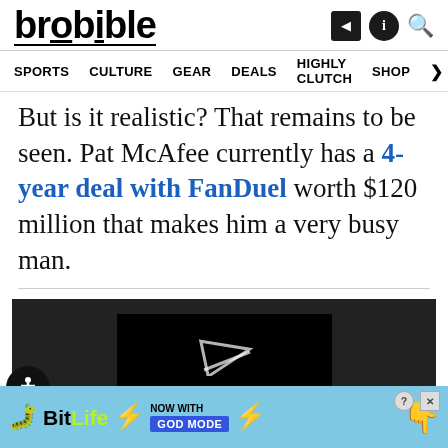brobible
SPORTS  CULTURE  GEAR  DEALS  HIGHLY CLUTCH  SHOP
But is it realistic? That remains to be seen. Pat McAfee currently has a 4-year deal with FanDuel worth $120 million that makes him a very busy man.
[Figure (screenshot): Video player with dark background showing 'The video cannot be played in this browser.' message and a play button arrow icon]
[Figure (other): BitLife advertisement banner with 'NOW WITH GOD MODE' text on a blue background with lightning bolt and hand graphics]